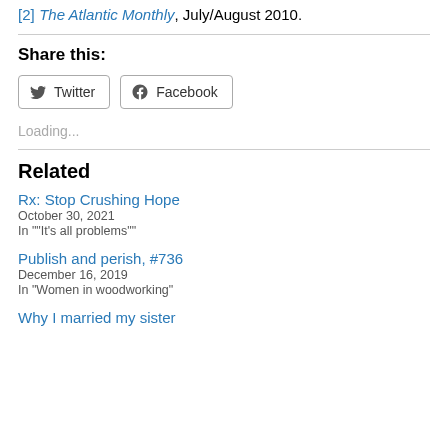[2] The Atlantic Monthly, July/August 2010.
Share this:
[Figure (other): Social share buttons for Twitter and Facebook]
Loading...
Related
Rx: Stop Crushing Hope
October 30, 2021
In ""It's all problems""
Publish and perish, #736
December 16, 2019
In "Women in woodworking"
Why I married my sister